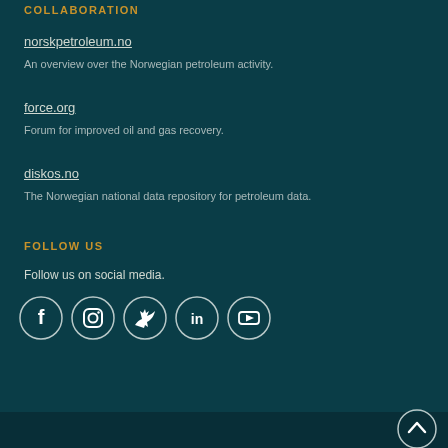COLLABORATION
norskpetroleum.no
An overview over the Norwegian petroleum activity.
force.org
Forum for improved oil and gas recovery.
diskos.no
The Norwegian national data repository for petroleum data.
FOLLOW US
Follow us on social media.
[Figure (illustration): Social media icons: Facebook, Instagram, Twitter, LinkedIn, YouTube in white circles with border]